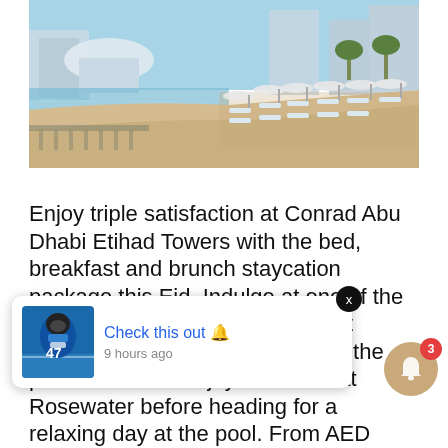[Figure (photo): Beach and waterfront resort photo showing sand, lounge chairs with umbrellas, water, and modern buildings in the background. Conrad Abu Dhabi Etihad Towers resort area.]
Enjoy triple satisfaction at Conrad Abu Dhabi Etihad Towers with the bed, breakfast and brunch staycation package this Eid. Indulge at one of the liveliest brunches in Abu Dhabi at [notification overlay] for the [notification overlay] om. [notification overlay] enjoy breakfast at Rosewater before heading for a relaxing day at the pool. From AED